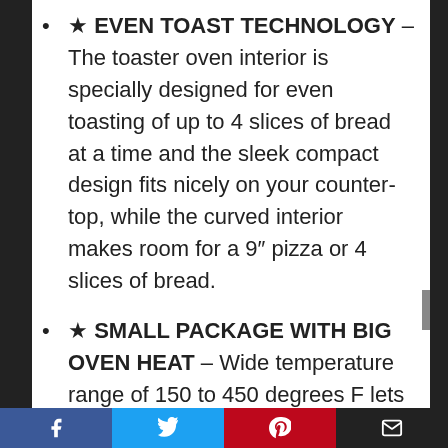★ EVEN TOAST TECHNOLOGY – The toaster oven interior is specially designed for even toasting of up to 4 slices of bread at a time and the sleek compact design fits nicely on your counter-top, while the curved interior makes room for a 9″ pizza or 4 slices of bread.
★ SMALL PACKAGE WITH BIG OVEN HEAT – Wide temperature range of 150 to 450 degrees F lets you cook with the convenience of an oven and the natural convection circulates air for faster, even